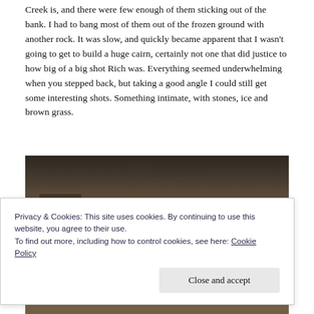Creek is, and there were few enough of them sticking out of the bank. I had to bang most of them out of the frozen ground with another rock. It was slow, and quickly became apparent that I wasn't going to get to build a huge cairn, certainly not one that did justice to how big of a big shot Rich was. Everything seemed underwhelming when you stepped back, but taking a good angle I could still get some interesting shots. Something intimate, with stones, ice and brown grass.
[Figure (photo): Outdoor nature photo showing a dark, wintry scene with brown grass, stones, and ice near a creek bank. The image is partially obscured by a cookie consent banner overlay.]
Privacy & Cookies: This site uses cookies. By continuing to use this website, you agree to their use.
To find out more, including how to control cookies, see here: Cookie Policy
Close and accept